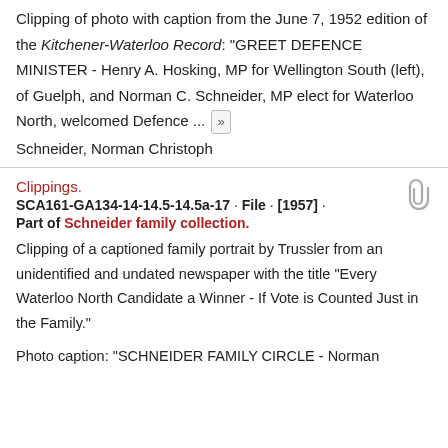Clipping of photo with caption from the June 7, 1952 edition of the Kitchener-Waterloo Record: "GREET DEFENCE MINISTER - Henry A. Hosking, MP for Wellington South (left), of Guelph, and Norman C. Schneider, MP elect for Waterloo North, welcomed Defence ... »
Schneider, Norman Christoph
Clippings.
SCA161-GA134-14-14.5-14.5a-17 · File · [1957] · Part of Schneider family collection.
Clipping of a captioned family portrait by Trussler from an unidentified and undated newspaper with the title "Every Waterloo North Candidate a Winner - If Vote is Counted Just in the Family."
Photo caption: "SCHNEIDER FAMILY CIRCLE - Norman